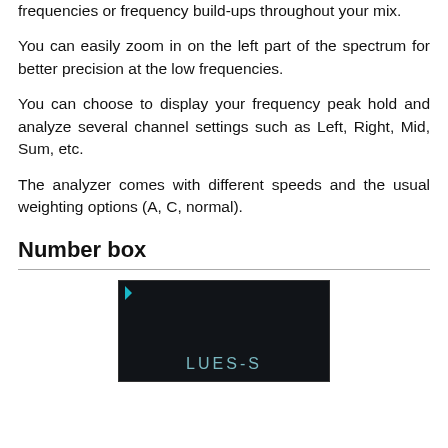frequencies or frequency build-ups throughout your mix.
You can easily zoom in on the left part of the spectrum for better precision at the low frequencies.
You can choose to display your frequency peak hold and analyze several channel settings such as Left, Right, Mid, Sum, etc.
The analyzer comes with different speeds and the usual weighting options (A, C, normal).
Number box
[Figure (screenshot): A dark UI screenshot showing a plugin interface labeled 'LUES-S' with a small teal arrow indicator in the top-left corner.]